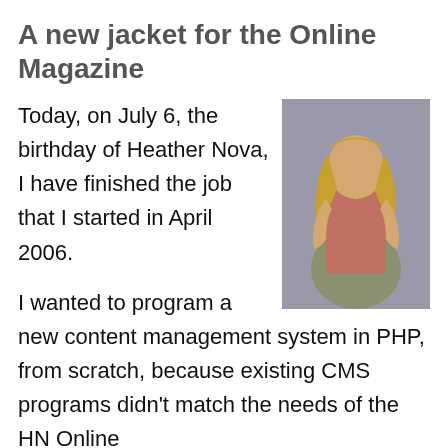A new jacket for the Online Magazine
Today, on July 6, the birthday of Heather Nova, I have finished the job that I started in April 2006.
[Figure (photo): A young woman with long blonde hair, wearing a tank top and loose pants, sitting in a casual pose against a grey background.]
I wanted to program a new content management system in PHP, from scratch, because existing CMS programs didn't match the needs of the HN Online